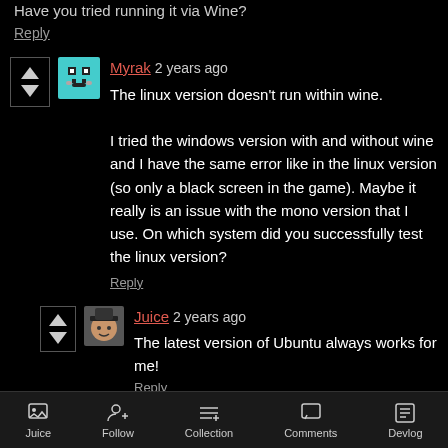Have you tried running it via Wine?
Reply
Myrak  2 years ago
The linux version doesn't run within wine.

I tried the windows version with and without wine and I have the same error like in the linux version (so only a black screen in the game). Maybe it really is an issue with the mono version that I use. On which system did you successfully test the linux version?
Reply
Juice  2 years ago
The latest version of Ubuntu always works for me!
Reply
Juice  Follow  Collection  Comments  Devlog